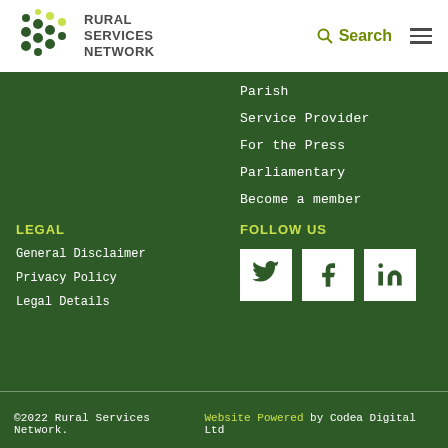[Figure (logo): Rural Services Network logo with green dot cluster and text]
Parish
Service Provider
For the Press
Parliamentary
Become a member
LEGAL
General Disclaimer
Privacy Policy
Legal Details
FOLLOW US
[Figure (illustration): Twitter, Facebook, LinkedIn social media icons in white boxes]
©2022 Rural Services Network. Website Powered by Codea Digital Ltd